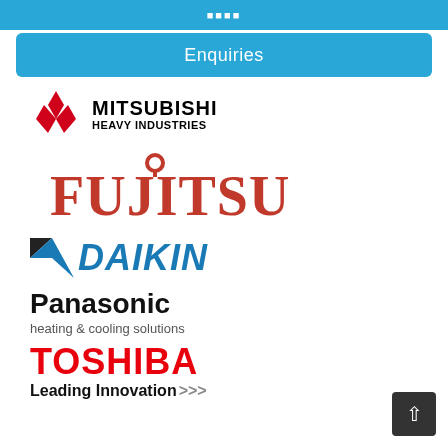Enquiries
[Figure (logo): Mitsubishi Heavy Industries logo — red diamond mark with three lobes and bold black text MITSUBISHI / HEAVY INDUSTRIES]
[Figure (logo): Fujitsu logo — red stylized text FUJITSU with decorative loop on J]
[Figure (logo): Daikin logo — blue and black chevron/triangle mark followed by bold italic blue text DAIKIN]
[Figure (logo): Panasonic logo — bold black text Panasonic with grey subtitle 'heating & cooling solutions']
[Figure (logo): Toshiba logo — bold red text TOSHIBA with black text 'Leading Innovation' and chevrons >>>]